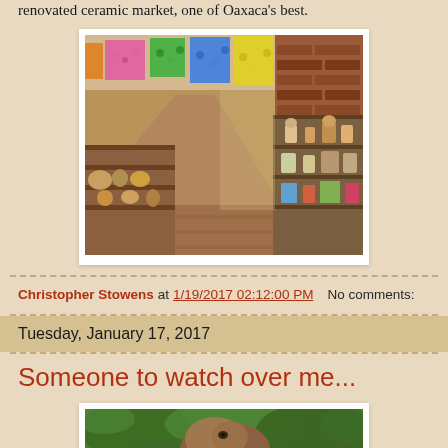renovated ceramic market, one of Oaxaca's best.
[Figure (photo): Interior of a ceramic market with colorful papel picado banners hanging from the ceiling, wooden shelves and tables displaying pottery and ceramic figurines, brick wall visible on the right side.]
Christopher Stowens at 1/19/2017 02:12:00 PM    No comments:
Tuesday, January 17, 2017
Someone to watch over me...
[Figure (photo): Close-up photo of what appears to be an animal or figure with green foliage in the background.]